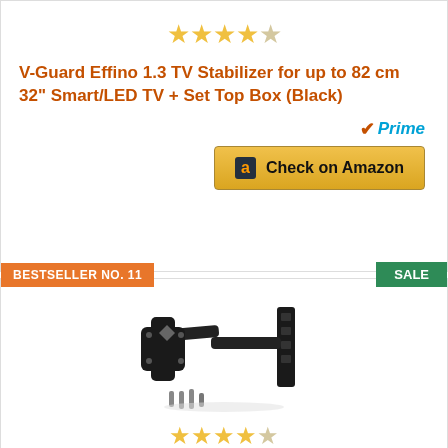[Figure (other): Star rating showing 4 out of 5 stars (gold stars, last star empty/gray)]
V-Guard Effino 1.3 TV Stabilizer for up to 82 cm 32" Smart/LED TV + Set Top Box (Black)
[Figure (logo): Amazon Prime checkmark badge with 'Prime' in teal italic text]
[Figure (other): Yellow 'Check on Amazon' button with Amazon 'a' logo]
BESTSELLER NO. 11
SALE
[Figure (photo): TV wall mount bracket - black articulating arm mount with mounting hardware]
[Figure (other): Star rating showing 4 out of 5 stars (gold stars, last star empty/gray)]
Rissachi Premium Heavy Duty Wall Mount